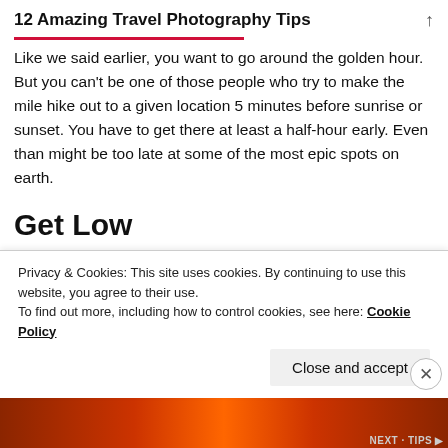12 Amazing Travel Photography Tips
Like we said earlier, you want to go around the golden hour. But you can't be one of those people who try to make the mile hike out to a given location 5 minutes before sunrise or sunset. You have to get there at least a half-hour early. Even than might be too late at some of the most epic spots on earth.
Get Low
A good rule of thumb no matter where or what time of
Privacy & Cookies: This site uses cookies. By continuing to use this website, you agree to their use.
To find out more, including how to control cookies, see here: Cookie Policy
Close and accept